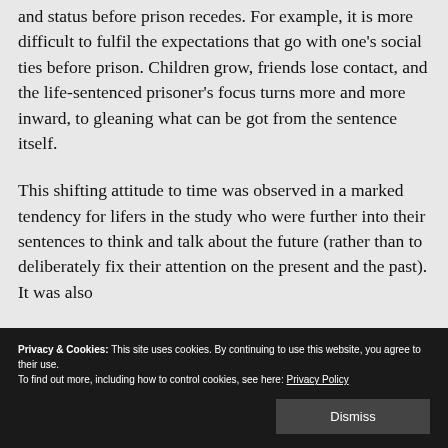and status before prison recedes. For example, it is more difficult to fulfil the expectations that go with one's social ties before prison. Children grow, friends lose contact, and the life-sentenced prisoner's focus turns more and more inward, to gleaning what can be got from the sentence itself.
This shifting attitude to time was observed in a marked tendency for lifers in the study who were further into their sentences to think and talk about the future (rather than to deliberately fix their attention on the present and the past). It was also
Privacy & Cookies: This site uses cookies. By continuing to use this website, you agree to their use.
To find out more, including how to control cookies, see here: Privacy Policy